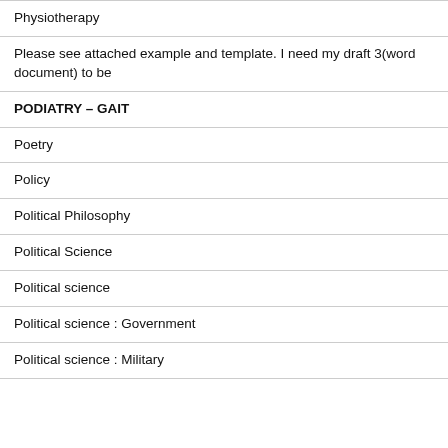Physiotherapy
Please see attached example and template. I need my draft 3(word document) to be
PODIATRY – GAIT
Poetry
Policy
Political Philosophy
Political Science
Political science
Political science : Government
Political science : Military